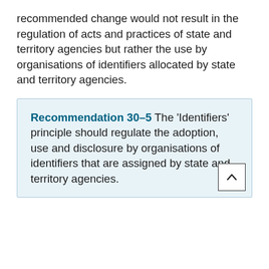recommended change would not result in the regulation of acts and practices of state and territory agencies but rather the use by organisations of identifiers allocated by state and territory agencies.
Recommendation 30–5 The 'Identifiers' principle should regulate the adoption, use and disclosure by organisations of identifiers that are assigned by state and territory agencies.